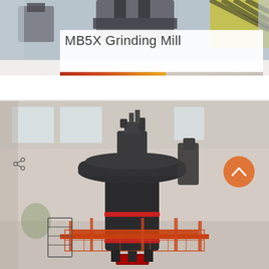[Figure (photo): Top portion of industrial grinding mill machinery visible at top of page, blurred background of industrial facility]
MB5X Grinding Mill
[Figure (photo): Large MB5X Grinding Mill industrial machine photographed in a factory/warehouse setting. The machine is dark gray/black with orange-red scaffolding/safety platforms around its base. A red accent ring is visible on the mill body. The background shows a light-colored industrial building interior with large windows. An orange circular scroll-up button with a white chevron is overlaid in the upper right area of the image.]